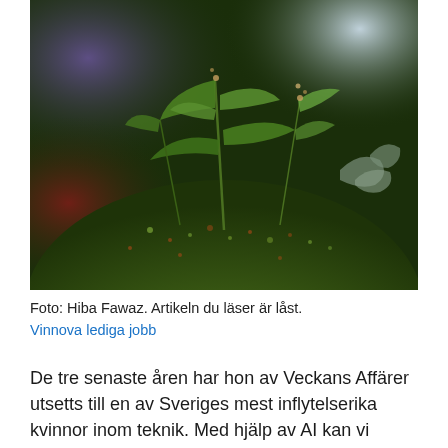[Figure (photo): Close-up photograph of green plants and small flowers growing on a moss-covered mound, with a dark, colorful blurred background including hints of red and blue/purple light.]
Foto: Hiba Fawaz. Artikeln du läser är låst.
Vinnova lediga jobb
De tre senaste åren har hon av Veckans Affärer utsetts till en av Sveriges mest inflytelserika kvinnor inom teknik. Med hjälp av AI kan vi utveckla bättre